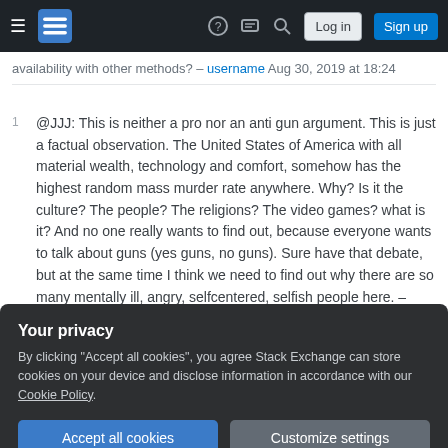Stack Exchange navigation bar with hamburger menu, logo, help, chat, search, Log in, Sign up buttons
availability with other methods? – username Aug 30, 2019 at 18:24
@JJJ: This is neither a pro nor an anti gun argument. This is just a factual observation. The United States of America with all material wealth, technology and comfort, somehow has the highest random mass murder rate anywhere. Why? Is it the culture? The people? The religions? The video games? what is it? And no one really wants to find out, because everyone wants to talk about guns (yes guns, no guns). Sure have that debate, but at the same time I think we need to find out why there are so many mentally ill, angry, selfcentered, selfish people here. – dolphin_of_france Aug 13, 2019 at 10:45
Your privacy
By clicking "Accept all cookies", you agree Stack Exchange can store cookies on your device and disclose information in accordance with our Cookie Policy.
Accept all cookies   Customize settings
@dolphin_of_france on wikipedia.org/wiki/More_Guns,_Less_Crime...